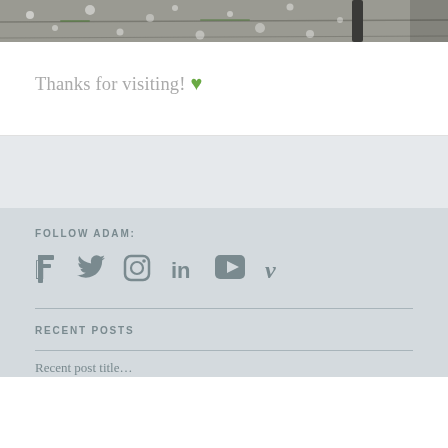[Figure (photo): Bottom portion of a photograph showing a concrete pavement/sidewalk with white speckled spots and a dark metal pole/stand leg visible on the right side]
Thanks for visiting! ♥
FOLLOW ADAM:
[Figure (infographic): Row of six social media icons: Facebook, Twitter, Instagram, LinkedIn, YouTube, Vimeo — all in muted gray-green color]
RECENT POSTS
Recent post title (partially visible)